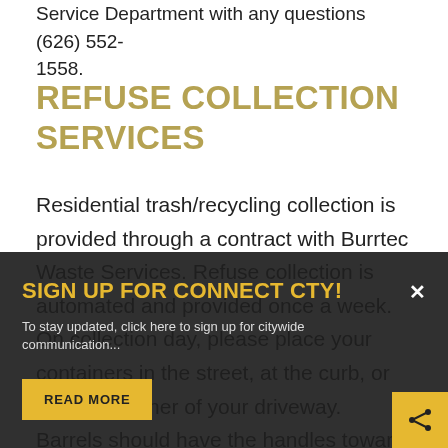Service Department with any questions (626) 552-1558.
REFUSE COLLECTION SERVICES
Residential trash/recycling collection is provided through a contract with Burrtec Waste Services. Refuse collection is automated and provided once a week.  On collection day, please place your containers in the street, at the curb, or near the corner of your driveway. Barrels should have the handles toward your home. The barrels need to be placed at least 2 feet away from any obstruction, fence, mailbox, or vehicle. All barrels must be curbside by 600 a.m. on your service day.
SIGN UP FOR CONNECT CTY!
To stay updated, click here to sign up for citywide communication...
READ MORE